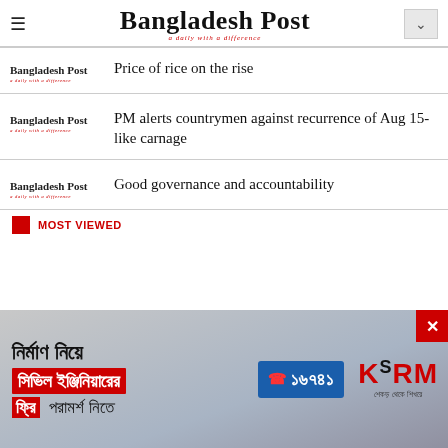Bangladesh Post
Price of rice on the rise
[Figure (logo): Bangladesh Post newspaper logo]
PM alerts countrymen against recurrence of Aug 15-like carnage
[Figure (logo): Bangladesh Post newspaper logo]
Good governance and accountability
[Figure (logo): Bangladesh Post newspaper logo]
MOST VIEWED
[Figure (infographic): KSRM advertisement in Bengali: construction civil engineer free consultation, phone 16741, KSRM logo]